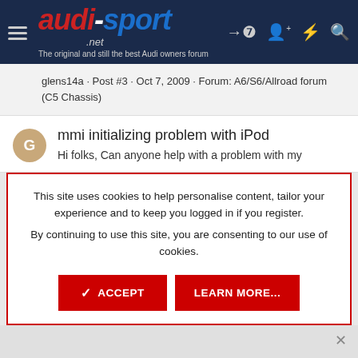audi-sport.net — The original and still the best Audi owners forum
glens14a · Post #3 · Oct 7, 2009 · Forum: A6/S6/Allroad forum (C5 Chassis)
mmi initializing problem with iPod
Hi folks, Can anyone help with a problem with my
This site uses cookies to help personalise content, tailor your experience and to keep you logged in if you register.
By continuing to use this site, you are consenting to our use of cookies.
✓ ACCEPT   LEARN MORE...